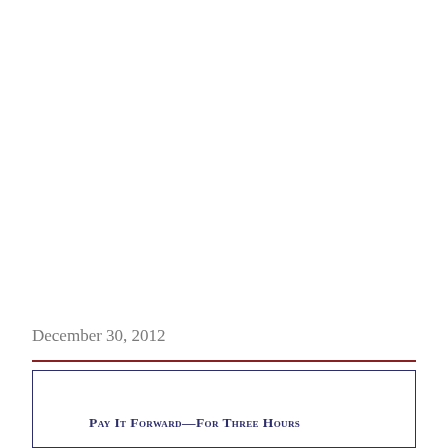December 30, 2012
Pay It Forward—For Three Hours